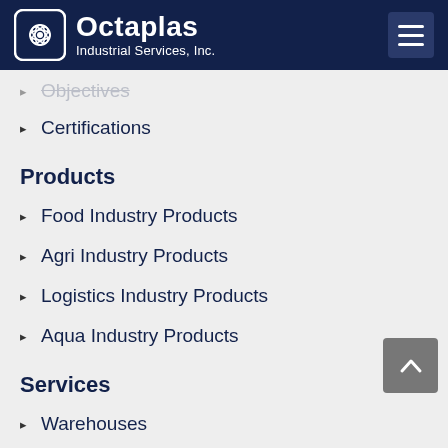[Figure (logo): Octaplas Industrial Services, Inc. logo with icon and hamburger menu button on dark navy header]
Objectives
Certifications
Products
Food Industry Products
Agri Industry Products
Logistics Industry Products
Aqua Industry Products
Services
Warehouses
Manufacturing Plant
Others